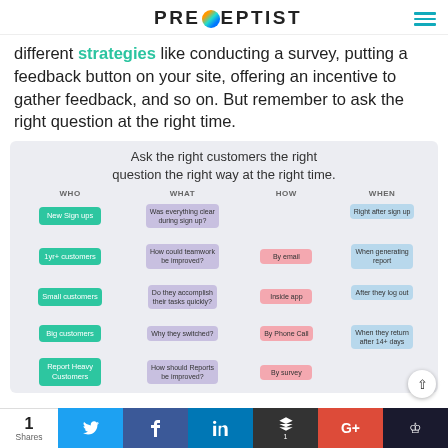PRECEPTIST
different strategies like conducting a survey, putting a feedback button on your site, offering an incentive to gather feedback, and so on. But remember to ask the right question at the right time.
[Figure (infographic): Infographic table titled 'Ask the right customers the right question the right way at the right time.' with columns WHO, WHAT, HOW, WHEN and rows: New Sign ups / Was everything clear during sign up? / [blank] / Right after sign up; 1yr+ customers / How could teamwork be improved? / By email / When generating report; Small customers / Do they accomplish their tasks quickly? / Inside app / After they log out; Big customers / Why they switched? / By Phone Call / When they return after 14+ days; Report Heavy Customers / How should Reports be improved? / By survey / [cut off]]
1 Shares | Twitter | Facebook | LinkedIn | Buffer | Google+ | Crown